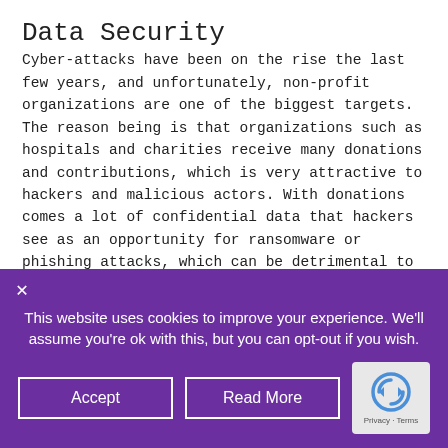Data Security
Cyber-attacks have been on the rise the last few years, and unfortunately, non-profit organizations are one of the biggest targets. The reason being is that organizations such as hospitals and charities receive many donations and contributions, which is very attractive to hackers and malicious actors. With donations comes a lot of confidential data that hackers see as an opportunity for ransomware or phishing attacks, which can be detrimental to donor’s information and non-profit efforts.
This website uses cookies to improve your experience. We’ll assume you’re ok with this, but you can opt-out if you wish.
Accept
Read More